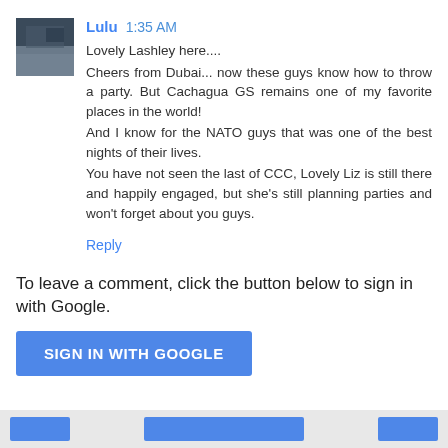[Figure (photo): Small avatar thumbnail showing a person or landscape photo in grayscale/dark tones]
Lulu  1:35 AM
Lovely Lashley here....
Cheers from Dubai... now these guys know how to throw a party. But Cachagua GS remains one of my favorite places in the world!
And I know for the NATO guys that was one of the best nights of their lives.
You have not seen the last of CCC, Lovely Liz is still there and happily engaged, but she's still planning parties and won't forget about you guys.
Reply
To leave a comment, click the button below to sign in with Google.
[Figure (screenshot): SIGN IN WITH GOOGLE button (blue rounded rectangle)]